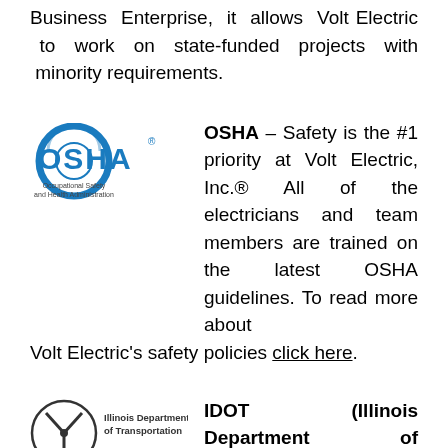Business Enterprise, it allows Volt Electric to work on state-funded projects with minority requirements.
[Figure (logo): OSHA - Occupational Safety and Health Administration logo]
OSHA – Safety is the #1 priority at Volt Electric, Inc.® All of the electricians and team members are trained on the latest OSHA guidelines. To read more about Volt Electric's safety policies click here.
[Figure (logo): Illinois Department of Transportation logo]
IDOT (Illinois Department of Transportation) – Volt Electric, Inc.® is a certified IDOT contractor with the ability to work on Illinois roadways, including the